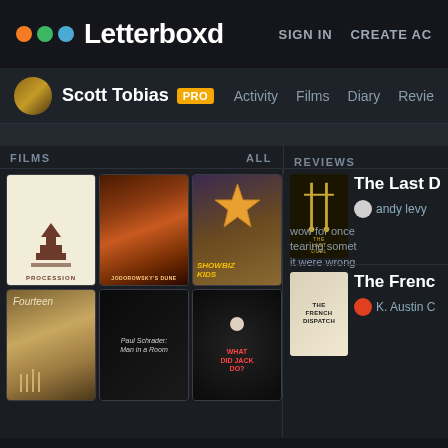Letterboxd  SIGN IN  CREATE AC
Scott Tobias PRO  Activity  Films  Diary  Revie
FILMS  ALL
REVIEWS
[Figure (photo): Film poster grid showing: Procession, Jodorowsky's Dune, Showbiz Kids, Fourteen, Paul Schrader: Man in a Room, What Did Jack Do?]
[Figure (photo): The Last Duel movie poster - dark background with two crossed swords in gold]
The Last D
andy levy
wow for once  tearing somet  it were wrong
[Figure (photo): The French Dispatch movie poster]
The Frenc
K. Austin C